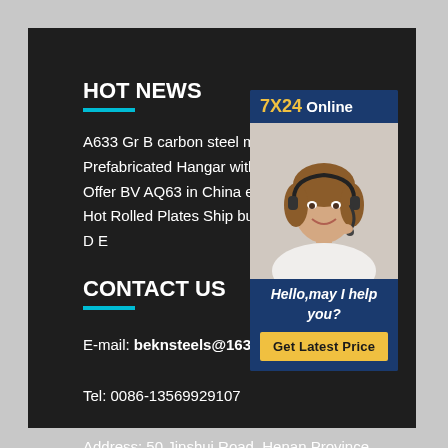HOT NEWS
A633 Gr B carbon steel material
Prefabricated Hangar with Ce Ce
Offer BV AQ63 in China export
Hot Rolled Plates Ship building p
D E
CONTACT US
E-mail: beknsteels@163.com
Tel: 0086-13569929107
Address: 50 Jinshui Road, Henan Province China
[Figure (photo): Customer service representative widget with '7X24 Online' header, photo of smiling woman with headset, 'Hello, may I help you?' text, and 'Get Latest Price' yellow button]